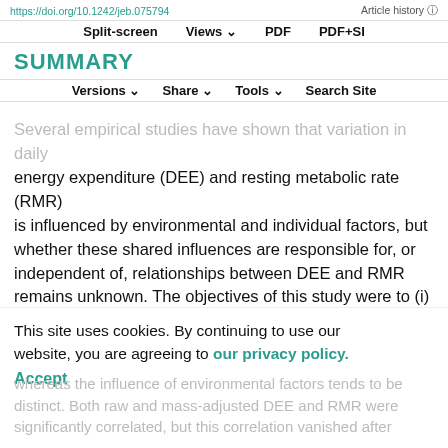https://doi.org/10.1242/jeb.075754    Article history
Split-screen    Views    PDF    PDF+SI
SUMMARY
Versions    Share    Tools    Search Site
Several empirical studies have shown that variation in daily energy expenditure (DEE) and resting metabolic rate (RMR) is influenced by environmental and individual factors, but whether these shared influences are responsible for, or independent of, relationships between DEE and RMR remains unknown. The objectives of this study were to (i) simultaneously evaluate the effects of environmental and individual variables on DEE and RMR in free-ranging eastern chipmunks (Tamias striatus) and (ii) quantify the correlation between DEE and RMR before and after controlling for common sources of variation. We found that the influence of individual factors on DEE and RMR is most often shared, whereas the influence of environmental factors tends to be distinct. Both raw and mass-adjusted DEE and RMR were significantly correlated, but this correlation vanished after
This site uses cookies. By continuing to use our website, you are agreeing to our privacy policy.
Accept